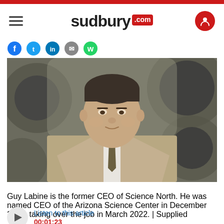sudbury.com
[Figure (photo): Professional headshot of Guy Labine, a middle-aged man in a tan/khaki suit jacket with a patterned tie, standing in front of industrial equipment (dark circular machinery). He has short dark hair and is looking directly at the camera.]
Guy Labine is the former CEO of Science North. He was named CEO of the Arizona Science Center in December 2021, taking over the job in March 2022. | Supplied
Listen to this article
00:01:23